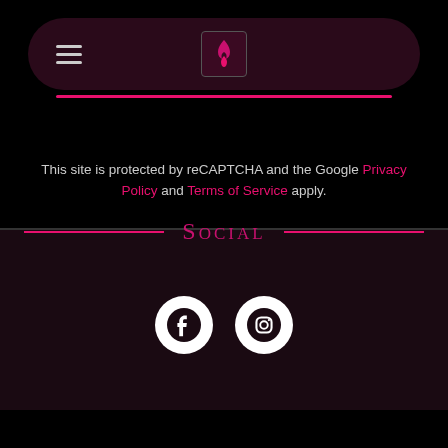[Figure (screenshot): Navigation bar with hamburger menu icon on the left and a flame logo icon in the center, on a dark maroon rounded rectangle background with a pink underline]
This site is protected by reCAPTCHA and the Google Privacy Policy and Terms of Service apply.
Social
[Figure (illustration): Facebook and Instagram social media icons as white circles with dark symbols inside]